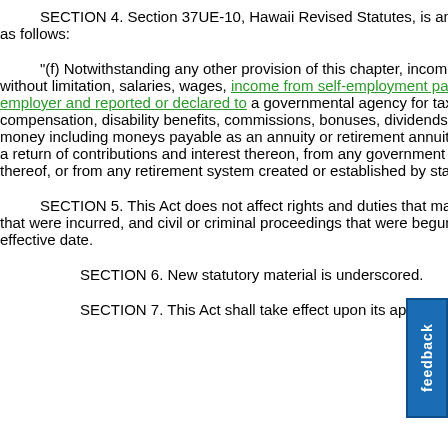SECTION 4.  Section 37UE-10, Hawaii Revised Statutes, is amended to read as follows:
"(f)  Notwithstanding any other provision of this chapter, income means, without limitation, salaries, wages, income from self-employment paid by an employer and reported or declared to a governmental agency for tax purposes, compensation, disability benefits, commissions, bonuses, dividends, pensions, money including moneys payable as an annuity or retirement annuity benefit, or as a return of contributions and interest thereon, from any government or subdivision thereof, or from any retirement system created or established by statute."
SECTION 5.  This Act does not affect rights and duties that matured, penalties that were incurred, and civil or criminal proceedings that were begun before its effective date.
SECTION 6.  New statutory material is underscored.
SECTION 7.  This Act shall take effect upon its approval.
[Figure (other): Feedback button - vertical blue tab with white text reading 'feedback']